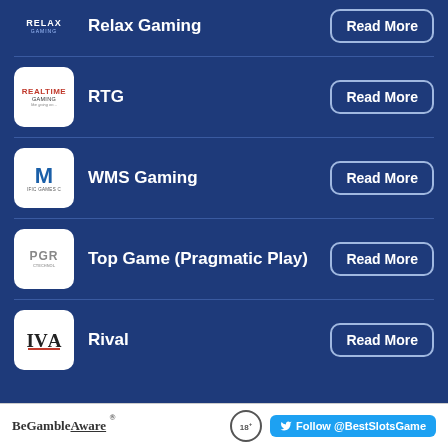Relax Gaming — Read More
RTG — Read More
WMS Gaming — Read More
Top Game (Pragmatic Play) — Read More
Rival — Read More
BeGambleAware ® 18+ Follow @BestSlotsGame